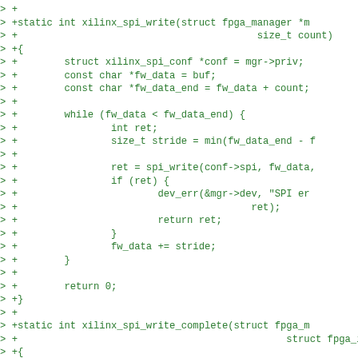Code diff showing xilinx_spi_write and xilinx_spi_write_complete function additions in C